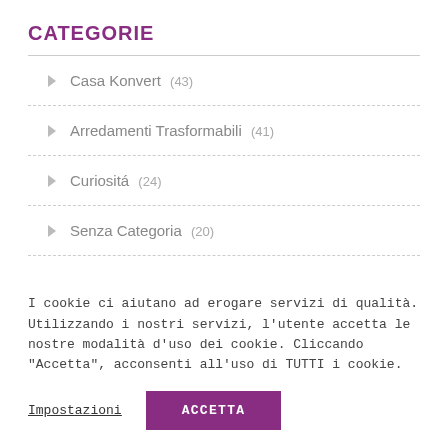CATEGORIE
Casa Konvert (43)
Arredamenti Trasformabili (41)
Curiositá (24)
Senza Categoria (20)
I cookie ci aiutano ad erogare servizi di qualità. Utilizzando i nostri servizi, l'utente accetta le nostre modalità d'uso dei cookie. Cliccando "Accetta", acconsenti all'uso di TUTTI i cookie.
Impostazioni  ACCETTA